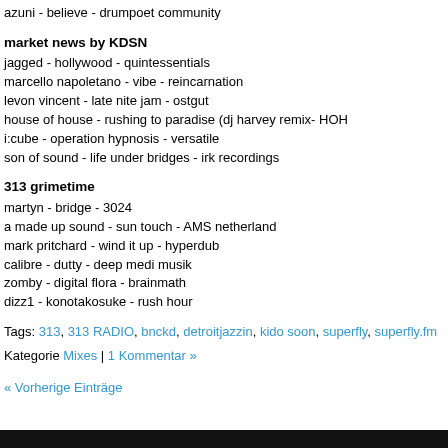azuni - believe - drumpoet community
market news by KDSN
jagged - hollywood - quintessentials
marcello napoletano - vibe - reincarnation
levon vincent - late nite jam - ostgut
house of house - rushing to paradise (dj harvey remix- HOH
i:cube - operation hypnosis - versatile
son of sound - life under bridges - irk recordings
313 grimetime
martyn - bridge - 3024
a made up sound - sun touch - AMS netherland
mark pritchard - wind it up - hyperdub
calibre - dutty - deep medi musik
zomby - digital flora - brainmath
dizz1 - konotakosuke - rush hour
Tags: 313, 313 RADIO, bnckd, detroitjazzin, kido soon, superfly, superfly.fm
Kategorie Mixes | 1 Kommentar »
« Vorherige Einträge